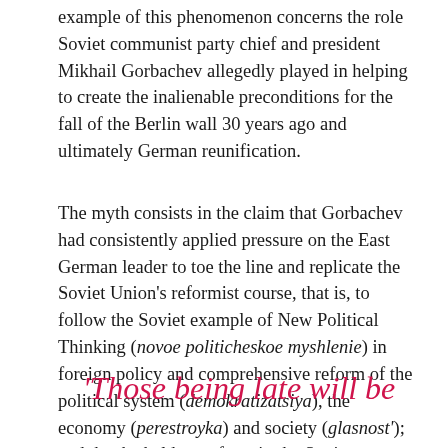example of this phenomenon concerns the role Soviet communist party chief and president Mikhail Gorbachev allegedly played in helping to create the inalienable preconditions for the fall of the Berlin wall 30 years ago and ultimately German reunification.
The myth consists in the claim that Gorbachev had consistently applied pressure on the East German leader to toe the line and replicate the Soviet Union's reformist course, that is, to follow the Soviet example of New Political Thinking (novoe politicheskoe myshlenie) in foreign policy and comprehensive reform of the political system (demokratizatsiya), the economy (perestroyka) and society (glasnost'); and that he held up reform in the Soviet Union as well as in Poland and Hungary as examples for East Germany to follow.
'Those being late will be punished by history!